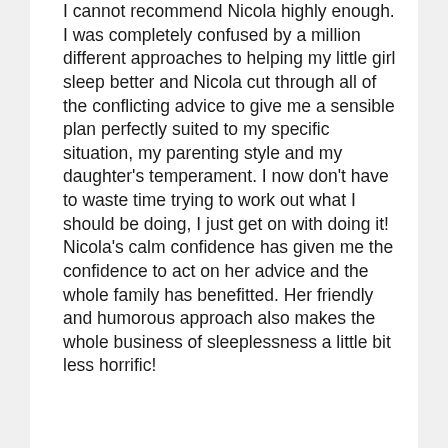I cannot recommend Nicola highly enough. I was completely confused by a million different approaches to helping my little girl sleep better and Nicola cut through all of the conflicting advice to give me a sensible plan perfectly suited to my specific situation, my parenting style and my daughter's temperament. I now don't have to waste time trying to work out what I should be doing, I just get on with doing it! Nicola's calm confidence has given me the confidence to act on her advice and the whole family has benefitted. Her friendly and humorous approach also makes the whole business of sleeplessness a little bit less horrific!